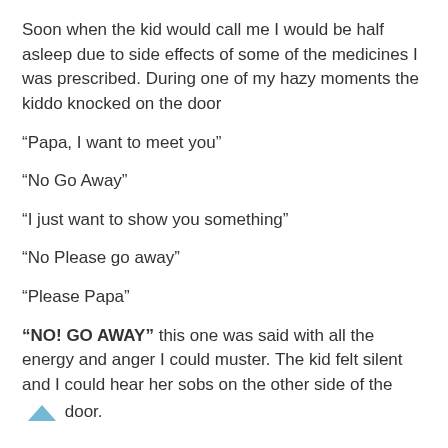Soon when the kid would call me I would be half asleep due to side effects of some of the medicines I was prescribed. During one of my hazy moments the kiddo knocked on the door
“Papa, I want to meet you”
“No Go Away”
“I just want to show you something”
“No Please go away”
“Please Papa”
“NO! GO AWAY” this one was said with all the energy and anger I could muster. The kid felt silent and I could hear her sobs on the other side of the door.